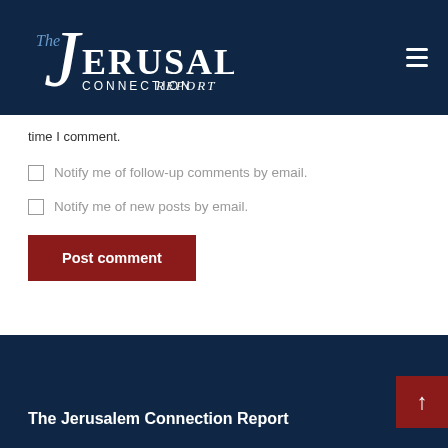[Figure (logo): The Jerusalem Connection Report logo on dark navy background with hamburger menu icon]
time I comment.
Notify me of follow-up comments by email.
Notify me of new posts by email.
Post comment
The Jerusalem Connection Report